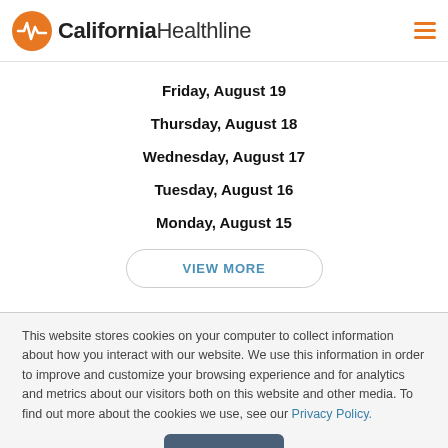California Healthline
Friday, August 19
Thursday, August 18
Wednesday, August 17
Tuesday, August 16
Monday, August 15
VIEW MORE
This website stores cookies on your computer to collect information about how you interact with our website. We use this information in order to improve and customize your browsing experience and for analytics and metrics about our visitors both on this website and other media. To find out more about the cookies we use, see our Privacy Policy.
Accept